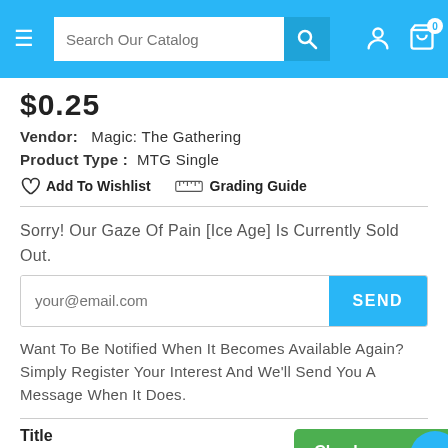Search Our Catalog
$0.25
Vendor:  Magic: The Gathering
Product Type :  MTG Single
Add To Wishlist    Grading Guide
Sorry! Our Gaze Of Pain [Ice Age] Is Currently Sold Out.
your@email.com
Want To Be Notified When It Becomes Available Again? Simply Register Your Interest And We'll Send You A Message When It Does.
Title